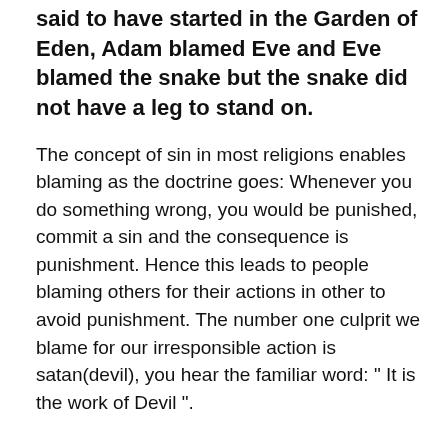said to have started in the Garden of Eden, Adam blamed Eve and Eve blamed the snake but the snake did not have a leg to stand on.
The concept of sin in most religions enables blaming as the doctrine goes: Whenever you do something wrong, you would be punished, commit a sin and the consequence is punishment. Hence this leads to people blaming others for their actions in other to avoid punishment. The number one culprit we blame for our irresponsible action is satan(devil), you hear the familiar word: " It is the work of Devil ".